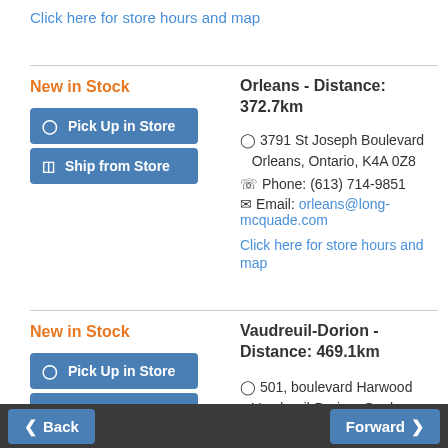Click here for store hours and map
New in Stock
Orleans - Distance: 372.7km
3791 St Joseph Boulevard Orleans, Ontario, K4A 0Z8
Phone: (613) 714-9851
Email: orleans@long-mcquade.com
Click here for store hours and map
New in Stock
Vaudreuil-Dorion - Distance: 469.1km
501, boulevard Harwood Vaudreuil-Dorion, Quebec, J7V 7W3
Back
Forward